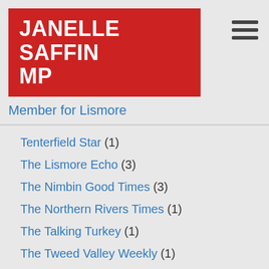JANELLE SAFFIN MP
Member for Lismore
Tenterfield Star (1)
The Lismore Echo (3)
The Nimbin Good Times (3)
The Northern Rivers Times (1)
The Talking Turkey (1)
The Tweed Valley Weekly (1)
Tweed Valley Independent (1)
Uncategorized (9)
Share this page